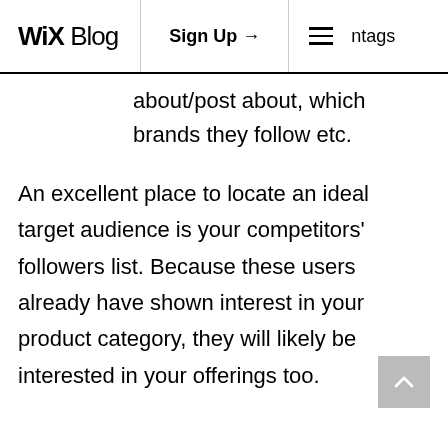WiX Blog | Sign Up → | ☰ ntags
about/post about, which brands they follow etc.
An excellent place to locate an ideal target audience is your competitors' followers list. Because these users already have shown interest in your product category, they will likely be interested in your offerings too.
Conduct a competitive analysis